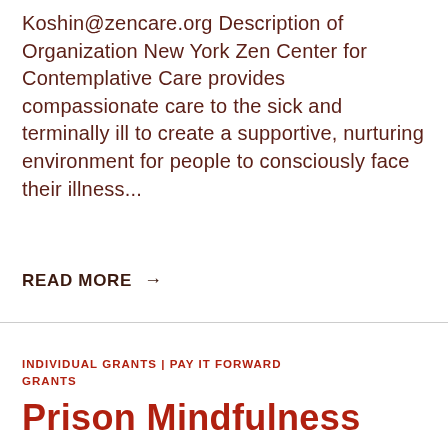Koshin@zencare.org Description of Organization New York Zen Center for Contemplative Care provides compassionate care to the sick and terminally ill to create a supportive, nurturing environment for people to consciously face their illness...
READ MORE →
INDIVIDUAL GRANTS | PAY IT FORWARD GRANTS
Prison Mindfulness